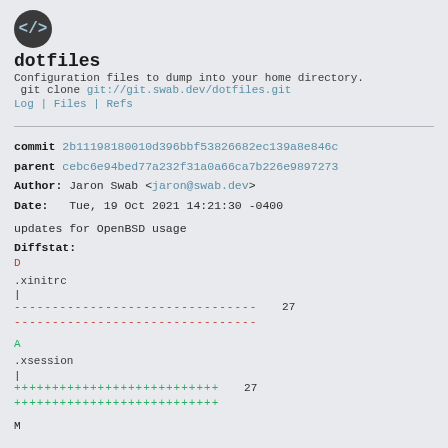[Figure (logo): Dark circular logo with </> code symbol]
dotfiles
Configuration files to dump into your home directory.
 git clone git://git.swab.dev/dotfiles.git
Log | Files | Refs
commit 2b11198180010d396bbf53826682ec139a8e846c
parent cebc6e94bed77a232f31a0a66ca7b226e9897273
Author: Jaron Swab <jaron@swab.dev>
Date:   Tue, 19 Oct 2021 14:21:30 -0400
updates for OpenBSD usage
Diffstat:
D
.xinitrc
|
                                        27
--------------------------------
A
.xsession
|
                                        27
+++++++++++++++++++++++++++
M